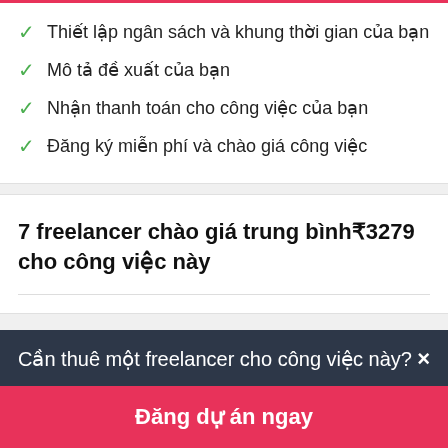✓ Thiết lập ngân sách và khung thời gian của bạn
✓ Mô tả đề xuất của bạn
✓ Nhận thanh toán cho công việc của bạn
✓ Đăng ký miễn phí và chào giá công việc
7 freelancer chào giá trung bình₹3279 cho công việc này
Cần thuê một freelancer cho công việc này? ×
Đăng dự án ngay